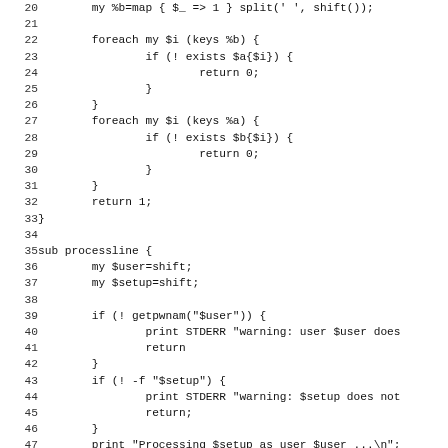Source code listing lines 20-51, Perl subroutine code including processline sub